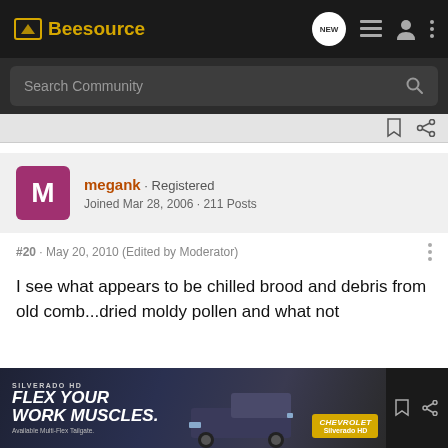Beesource
Search Community
megank · Registered
Joined Mar 28, 2006 · 211 Posts
#20 · May 20, 2010 (Edited by Moderator)
I see what appears to be chilled brood and debris from old comb...dried moldy pollen and what not
[Figure (screenshot): Chevrolet Silverado HD advertisement banner: 'SILVERADO HD FLEX YOUR WORK MUSCLES. Available Multi-Flex Tailgate. Chevrolet Silverado HD']